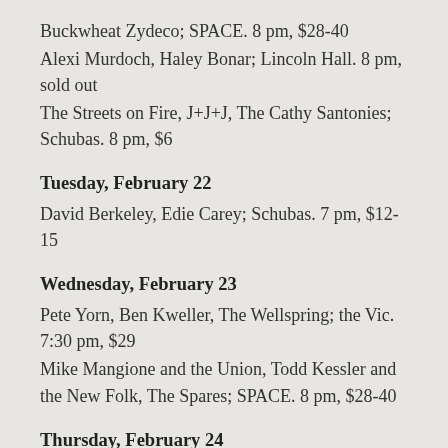Buckwheat Zydeco; SPACE. 8 pm, $28-40
Alexi Murdoch, Haley Bonar; Lincoln Hall. 8 pm, sold out
The Streets on Fire, J+J+J, The Cathy Santonies; Schubas. 8 pm, $6
Tuesday, February 22
David Berkeley, Edie Carey; Schubas. 7 pm, $12-15
Wednesday, February 23
Pete Yorn, Ben Kweller, The Wellspring; the Vic. 7:30 pm, $29
Mike Mangione and the Union, Todd Kessler and the New Folk, The Spares; SPACE. 8 pm, $28-40
Thursday, February 24
Akron/Family, Delicate Steve, Joshua Abrams Natural Information Society; Lincoln Hall. 9 pm, $15